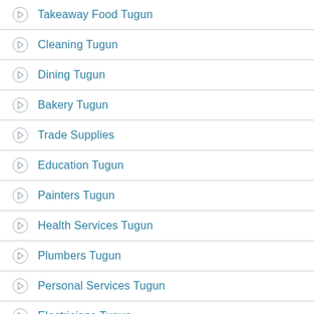Takeaway Food Tugun
Cleaning Tugun
Dining Tugun
Bakery Tugun
Trade Supplies
Education Tugun
Painters Tugun
Health Services Tugun
Plumbers Tugun
Personal Services Tugun
Electricians Tugun